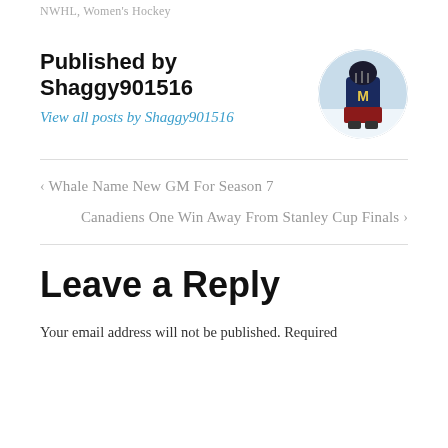NWHL, Women's Hockey
Published by Shaggy901516
View all posts by Shaggy901516
[Figure (photo): Circular avatar photo of a hockey player wearing a jersey with the letter M on ice]
< Whale Name New GM For Season 7
Canadiens One Win Away From Stanley Cup Finals >
Leave a Reply
Your email address will not be published. Required